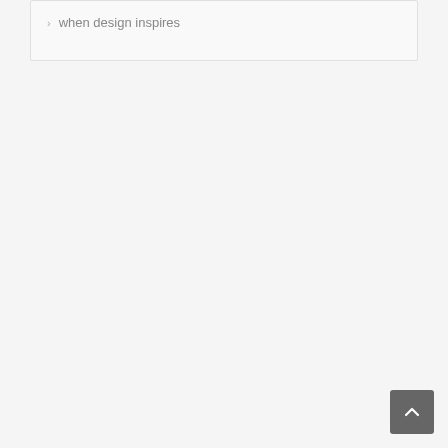when design inspires
[Figure (other): Back to top button — a dark gray rounded square with a white upward chevron arrow]